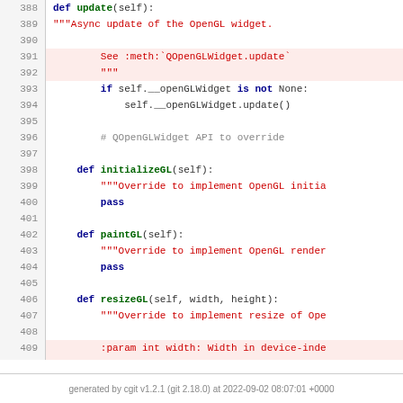[Figure (screenshot): Python source code viewer showing lines 388-412 of a file. Code defines methods update, initializeGL, paintGL, and resizeGL. Lines 391-392 and 409-411 are highlighted in pink/red background indicating docstring sections.]
generated by cgit v1.2.1 (git 2.18.0) at 2022-09-02 08:07:01 +0000